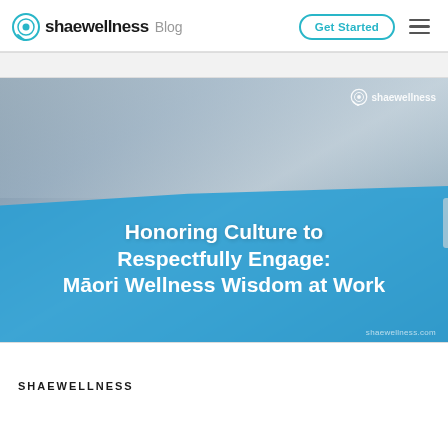shaewellness Blog
[Figure (screenshot): Blog article hero image showing office workers in a modern workspace with a blue overlay containing the article title: Honoring Culture to Respectfully Engage: Māori Wellness Wisdom at Work. The shaewellness logo watermark appears in the top-right of the image, and shaewellness.com appears in the bottom-right.]
SHAEWELLNESS